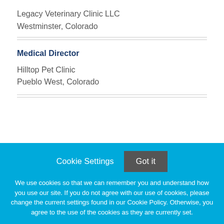Legacy Veterinary Clinic LLC
Westminster, Colorado
Medical Director
Hilltop Pet Clinic
Pueblo West, Colorado
Cookie Settings   Got it

We use cookies so that we can remember you and understand how you use our site. If you do not agree with our use of cookies, please change the current settings found in our Cookie Policy. Otherwise, you agree to the use of the cookies as they are currently set.